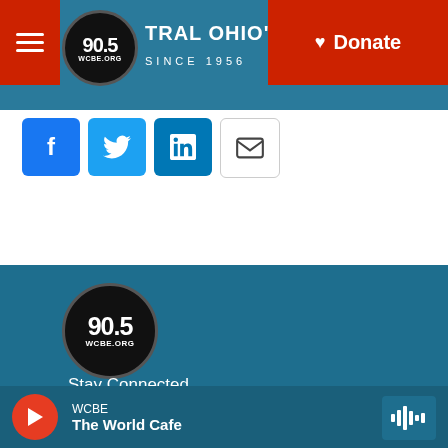[Figure (screenshot): WCBE 90.5 FM NPR station website header with logo, navigation hamburger button, 'CENTRAL OHIO'S ORIGINAL NPR STATION SINCE 1956' text, and red Donate button]
[Figure (infographic): Social share buttons row: Facebook (blue), Twitter (blue), LinkedIn (blue), Email (white with envelope icon)]
[Figure (logo): WCBE 90.5 WCBE.ORG circular logo in footer area on teal background]
Stay Connected
[Figure (infographic): Social media icons row: Twitter, Instagram, Facebook — black circles]
© 2022 WCBE 90.5 FM
WCBE
The World Cafe